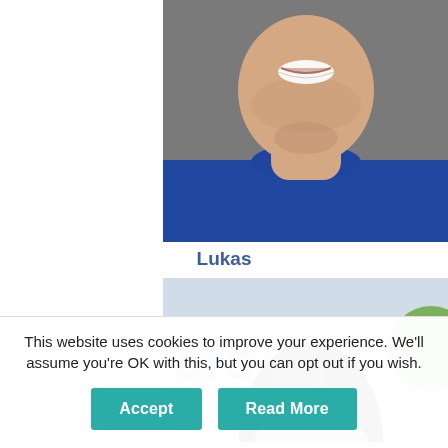[Figure (photo): Close-up photo of a young man with light stubble, smiling, wearing a blue t-shirt, against a gray background. Only the lower face, neck, and upper torso are visible.]
Lukas
[Figure (photo): Photo of a woman with dark hair seen from behind/top showing the top of her head, in front of a sign that partially reads 'ears' and a green circular logo on a light background.]
This website uses cookies to improve your experience. We'll assume you're OK with this, but you can opt out if you wish.